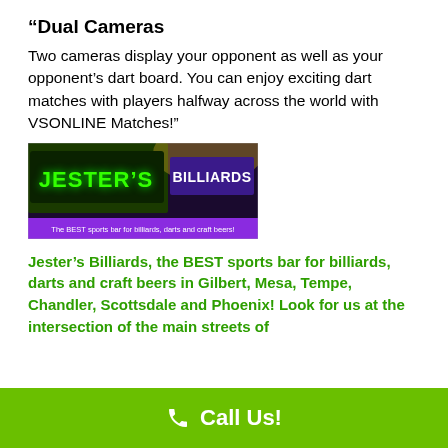“Dual Cameras
Two cameras display your opponent as well as your opponent’s dart board. You can enjoy exciting dart matches with players halfway across the world with VSONLINE Matches!”
[Figure (photo): Jester's Billiards logo banner with green neon text 'JESTER'S' and blue sign 'BILLIARDS' with tagline 'The BEST sports bar for billiards, darts and craft beers!']
Jester’s Billiards, the BEST sports bar for billiards, darts and craft beers in Gilbert, Mesa, Tempe, Chandler, Scottsdale and Phoenix! Look for us at the intersection of the main streets of
Call Us!